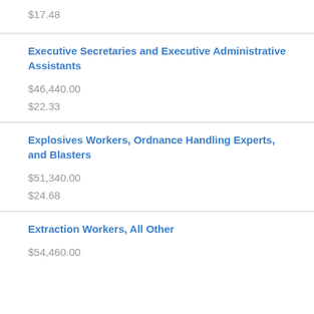$17.48
Executive Secretaries and Executive Administrative Assistants
$46,440.00
$22.33
Explosives Workers, Ordnance Handling Experts, and Blasters
$51,340.00
$24.68
Extraction Workers, All Other
$54,460.00